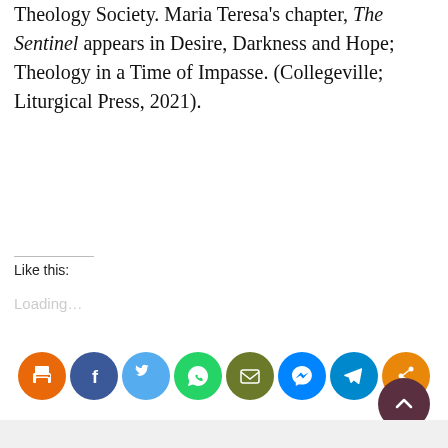Theology Society. Maria Teresa's chapter, The Sentinel appears in Desire, Darkness and Hope; Theology in a Time of Impasse. (Collegeville; Liturgical Press, 2021).
Like this:
Loading...
[Figure (infographic): Row of 8 circular social sharing icons: print (orange), Facebook (dark blue), Twitter (light blue), WhatsApp (green), email (olive/dark green), Messenger (blue), Telegram (light blue), share (orange)]
[Figure (other): Dark brownish-red circular back-to-top button with upward chevron arrow, positioned bottom right]